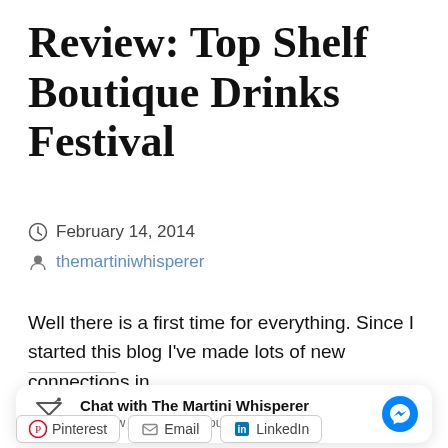Review: Top Shelf Boutique Drinks Festival
February 14, 2014
themartiniwhisperer
Well there is a first time for everything. Since I started this blog I've made lots of new connections in…
[Figure (infographic): Chat widget box: martini glass logo, 'Chat with The Martini Whisperer', 'Hi! How can we help you?', Messenger icon button]
Pinterest   Email   LinkedIn